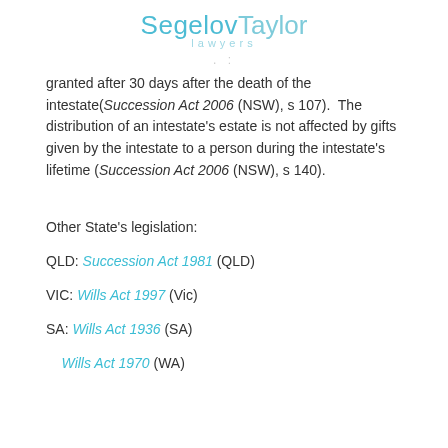SegelovTaylor lawyers
granted after 30 days after the death of the intestate(Succession Act 2006 (NSW), s 107). The distribution of an intestate's estate is not affected by gifts given by the intestate to a person during the intestate's lifetime (Succession Act 2006 (NSW), s 140).
Other State's legislation:
QLD: Succession Act 1981 (QLD)
VIC: Wills Act 1997 (Vic)
SA: Wills Act 1936 (SA)
WA: Wills Act 1970 (WA)